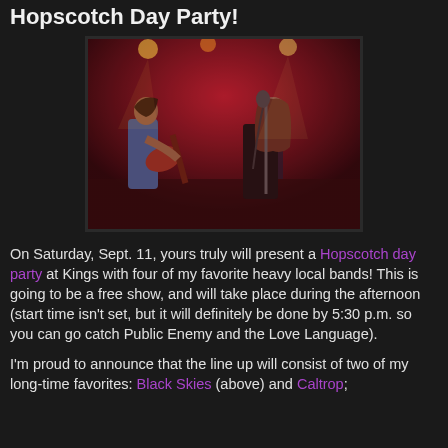Hopscotch Day Party!
[Figure (photo): Two musicians performing on a dark stage with red lighting. One plays bass guitar wearing a blue top, the other sings at a microphone wearing a black t-shirt.]
On Saturday, Sept. 11, yours truly will present a Hopscotch day party at Kings with four of my favorite heavy local bands! This is going to be a free show, and will take place during the afternoon (start time isn't set, but it will definitely be done by 5:30 p.m. so you can go catch Public Enemy and the Love Language).
I'm proud to announce that the line up will consist of two of my long-time favorites: Black Skies (above) and Caltrop;